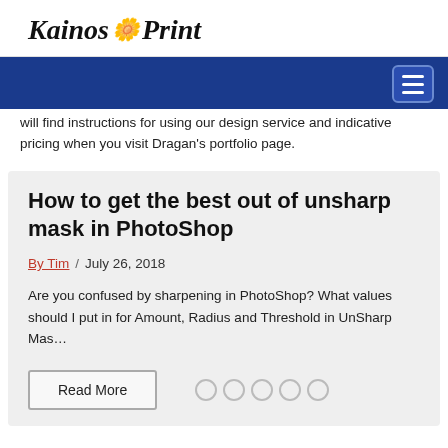Kainos Print
will find instructions for using our design service and indicative pricing when you visit Dragan's portfolio page.
How to get the best out of unsharp mask in PhotoShop
By Tim / July 26, 2018
Are you confused by sharpening in PhotoShop? What values should I put in for Amount, Radius and Threshold in UnSharp Mas…
Read More